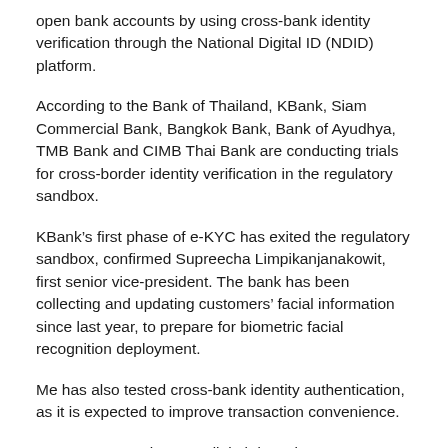open bank accounts by using cross-bank identity verification through the National Digital ID (NDID) platform.
According to the Bank of Thailand, KBank, Siam Commercial Bank, Bangkok Bank, Bank of Ayudhya, TMB Bank and CIMB Thai Bank are conducting trials for cross-border identity verification in the regulatory sandbox.
KBank's first phase of e-KYC has exited the regulatory sandbox, confirmed Supreecha Limpikanjanakowit, first senior vice-president. The bank has been collecting and updating customers' facial information since last year, to prepare for biometric facial recognition deployment.
Me has also tested cross-bank identity authentication, as it is expected to improve transaction convenience.
Customers opening new digital deposit accounts on the NDID platform have to present their IDs through a smartphone.
“We expect our second phase will exit the regulatory sandbox in the second half. We will then set a clearer plan about expanding digital deposit account opening,” said Mr Benjarong